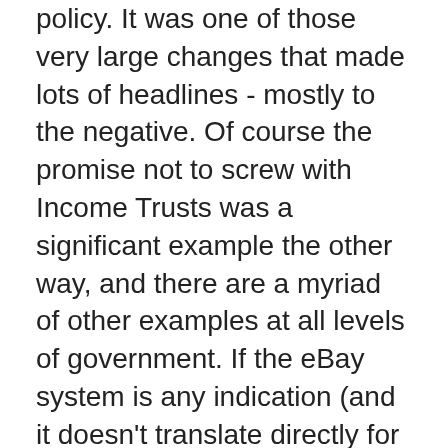policy. It was one of those very large changes that made lots of headlines - mostly to the negative. Of course the promise not to screw with Income Trusts was a significant example the other way, and there are a myriad of other examples at all levels of government. If the eBay system is any indication (and it doesn't translate directly for a lot of reasons), there's somewhere near a 50 to 1 ratio on fulfilling to failure of core mandates to maintain trust. I can't think of (m)any politicians that come close.